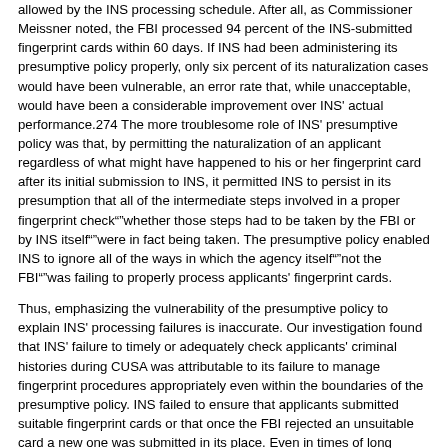allowed by the INS processing schedule. After all, as Commissioner Meissner noted, the FBI processed 94 percent of the INS-submitted fingerprint cards within 60 days. If INS had been administering its presumptive policy properly, only six percent of its naturalization cases would have been vulnerable, an error rate that, while unacceptable, would have been a considerable improvement over INS' actual performance.274 The more troublesome role of INS' presumptive policy was that, by permitting the naturalization of an applicant regardless of what might have happened to his or her fingerprint card after its initial submission to INS, it permitted INS to persist in its presumption that all of the intermediate steps involved in a proper fingerprint check—whether those steps had to be taken by the FBI or by INS itself—were in fact being taken. The presumptive policy enabled INS to ignore all of the ways in which the agency itself—not the FBI—was failing to properly process applicants' fingerprint cards.
Thus, emphasizing the vulnerability of the presumptive policy to explain INS' processing failures is inaccurate. Our investigation found that INS' failure to timely or adequately check applicants' criminal histories during CUSA was attributable to its failure to manage fingerprint procedures appropriately even within the boundaries of the presumptive policy. INS failed to ensure that applicants submitted suitable fingerprint cards or that once the FBI rejected an unsuitable card a new one was submitted in its place. Even in times of long backlogs, INS failed to ensure that the Field did not schedule interviews of an applicant until 60 days after having sent the card to the FBI for processing. INS failed to ensure that criminal history reports were timely placed in applicants' A-files or otherwise made available to adjudicators in time for the applicant's naturalization interview. Had all of these fundamental steps been properly and timely followed, INS could have succeeded at checking the overwhelming majority of